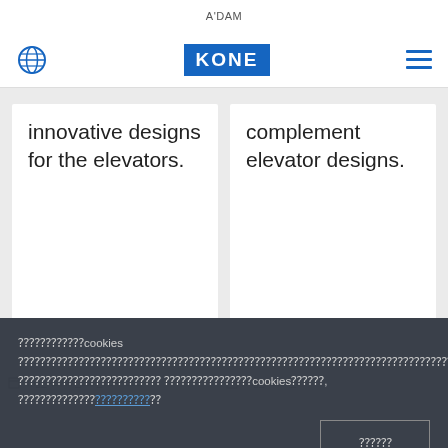A'DAM
[Figure (logo): KONE company logo and navigation bar with globe icon and hamburger menu]
innovative designs for the elevators.
complement elevator designs.
🔲🔲🔲🔲🔲🔲cookies 🔲🔲🔲🔲🔲🔲🔲🔲🔲🔲🔲🔲🔲🔲🔲🔲🔲🔲🔲🔲🔲🔲🔲🔲🔲🔲🔲🔲🔲🔲🔲🔲🔲🔲🔲🔲🔲🔲🔲🔲 🔲🔲🔲🔲🔲🔲🔲🔲🔲🔲🔲🔲🔲 🔲🔲🔲🔲🔲🔲🔲🔲cookies🔲🔲🔲, 🔲🔲🔲🔲🔲🔲🔲🔲🔲🔲🔲🔲
🔲🔲🔲